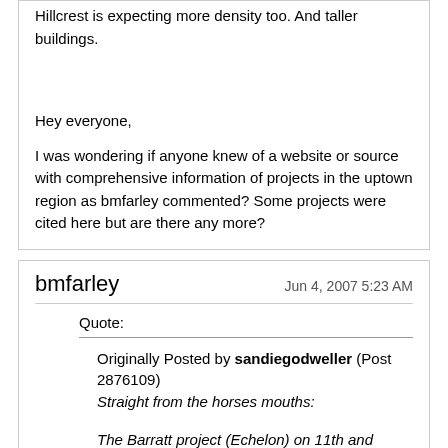Hillcrest is expecting more density too. And taller buildings.
Hey everyone,

I was wondering if anyone knew of a website or source with comprehensive information of projects in the uptown region as bmfarley commented? Some projects were cited here but are there any more?
bmfarley
Jun 4, 2007 5:23 AM
Quote:
Originally Posted by sandiegodweller (Post 2876109)
Straight from the horses mouths:

The Barratt project (Echelon) on 11th and Island is on hold indefinitley. Can't get it to make sense financially. Thomas Jefferson Law School was planned to take up the bottom floors.

Library Tower has cancelled all of the exisiting escrows/reservations. Mothballed for now.

The Renaissance Marriott on 5th should break ground in